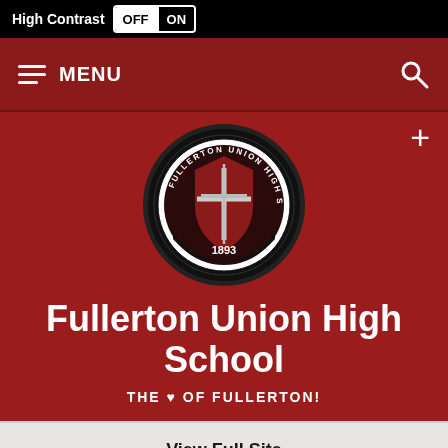High Contrast OFF ON
[Figure (screenshot): Navigation bar with hamburger menu icon, MENU text, and search icon on dark red background]
[Figure (logo): Fullerton Union High School circular seal with cross/sword emblem and year 1893]
Fullerton Union High School
THE ♥ OF FULLERTON!
View Full Site